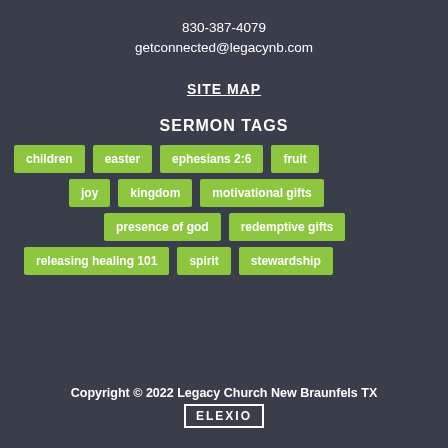830-387-4079
getconnected@legacynb.com
SITE MAP
SERMON TAGS
children
easter
ephesians 2:6
fruit
joy
kingdom
motivational gifts
presence of god
redemptive gifts
releasing healing 101
spirit
stewardship
Copyright © 2022 Legacy Church New Braunfels TX
ELEXIO